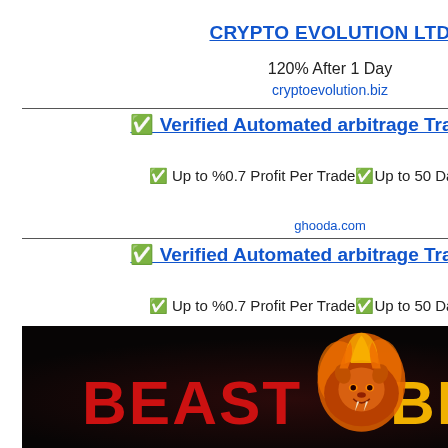[Figure (logo): Small ad icon (table/monitor symbol) in top right corner]
CRYPTO EVOLUTION LTD
120% After 1 Day
cryptoevolution.biz
✅ Verified Automated arbitrage Trading Bot
✅ Up to %0.7 Profit Per Trade✅Up to 50 Daily Trade
ghooda.com
✅ Verified Automated arbitrage Trading Bot
✅ Up to %0.7 Profit Per Trade✅Up to 50 Daily Trade
ghooda.com
[Figure (logo): Small ad icon (table/monitor symbol) above Beast BNB image]
[Figure (photo): Dark background image with a flaming lion logo and text BEAST BNB in red and yellow]